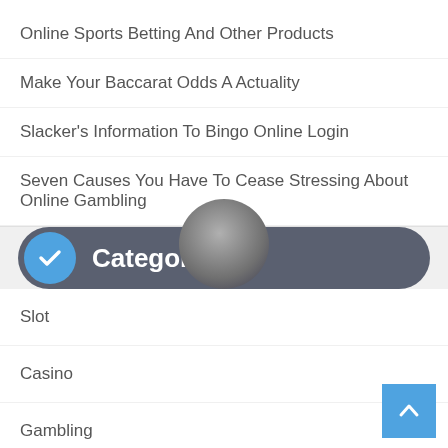Online Sports Betting And Other Products
Make Your Baccarat Odds A Actuality
Slacker's Information To Bingo Online Login
Seven Causes You Have To Cease Stressing About Online Gambling
Categories
Slot
Casino
Gambling